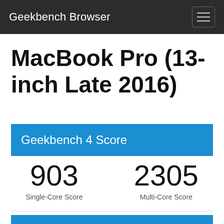Geekbench Browser
MacBook Pro (13-inch Late 2016)
Geekbench 4 Score
903
Single-Core Score
2305
Multi-Core Score
Geekbench 4.2.0 Pro for Mac OS X x86 (64-bit)